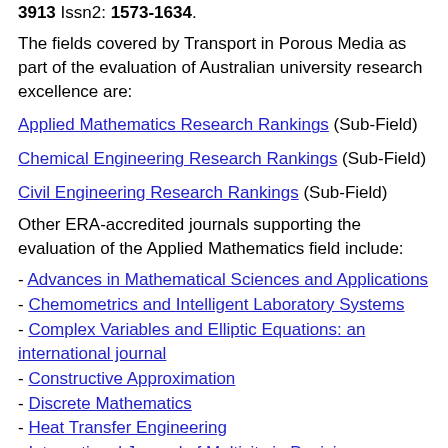3913 Issn2: 1573-1634.
The fields covered by Transport in Porous Media as part of the evaluation of Australian university research excellence are:
Applied Mathematics Research Rankings (Sub-Field)
Chemical Engineering Research Rankings (Sub-Field)
Civil Engineering Research Rankings (Sub-Field)
Other ERA-accredited journals supporting the evaluation of the Applied Mathematics field include:
- Advances in Mathematical Sciences and Applications
- Chemometrics and Intelligent Laboratory Systems
- Complex Variables and Elliptic Equations: an international journal
- Constructive Approximation
- Discrete Mathematics
- Heat Transfer Engineering
- International Journal of Multicity in Decision...